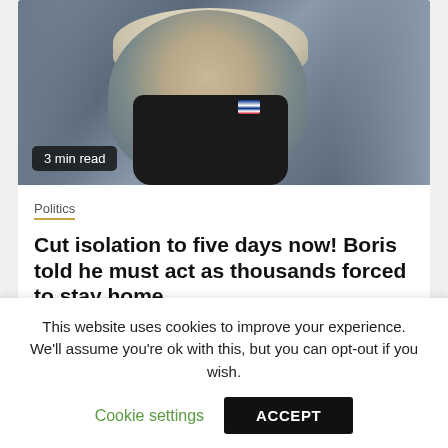[Figure (photo): Person wearing a black face mask with a small Union Jack flag on it, blond hair visible, close-up portrait]
3 min read
Politics
Cut isolation to five days now! Boris told he must act as thousands forced to stay home
8 months ago
[Figure (photo): Two side-by-side photos: left shows a person in front of red background, right shows a blond-haired person]
This website uses cookies to improve your experience. We'll assume you're ok with this, but you can opt-out if you wish.
Cookie settings
ACCEPT